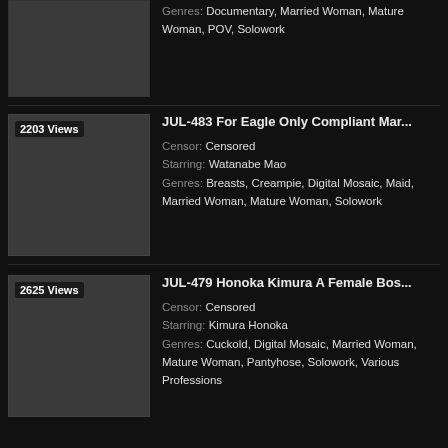[Figure (photo): Partial thumbnail of first listing at top]
Genres: Documentary, Married Woman, Mature Woman, POV, Solowork
[Figure (photo): Thumbnail for JUL-483 with views badge showing 2203 Views]
JUL-483 For Eagle Only Compliant Mar...
Censor: Censored
Starring: Watanabe Mao
Genres: Breasts, Creampie, Digital Mosaic, Maid, Married Woman, Mature Woman, Solowork
[Figure (photo): Thumbnail for JUL-479 with views badge showing 2625 Views]
JUL-479 Honoka Kimura A Female Bos...
Censor: Censored
Starring: Kimura Honoka
Genres: Cuckold, Digital Mosaic, Married Woman, Mature Woman, Pantyhose, Solowork, Various Professions